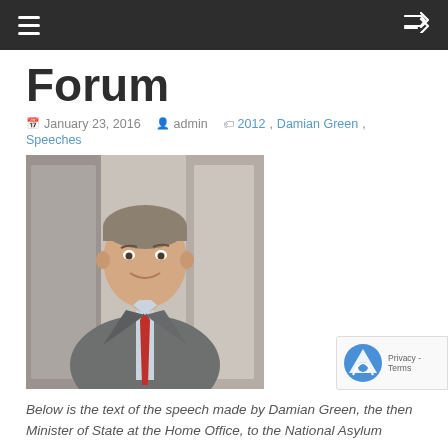≡  [shuffle icon]
Forum
January 23, 2016   admin   2012, Damian Green, Speeches
[Figure (photo): Photo of Damian Green, a middle-aged man in a grey suit and red tie, smiling, standing in front of a wooden wall or door]
Below is the text of the speech made by Damian Green, the then Minister of State at the Home Office, to the National Asylum Stakeholder Forum on 5 July 2012.
Firstly let me begin by thanking you for inviting me to speak to you once again. It is a little over a year since we last met at city hall for what was an...